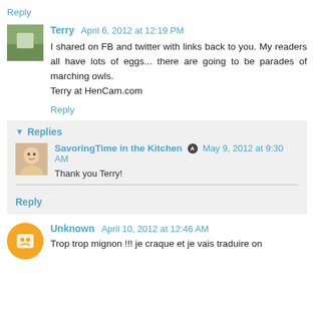Reply
Terry April 6, 2012 at 12:19 PM
I shared on FB and twitter with links back to you. My readers all have lots of eggs... there are going to be parades of marching owls.
Terry at HenCam.com
Reply
Replies
SavoringTime in the Kitchen May 9, 2012 at 9:30 AM
Thank you Terry!
Reply
Unknown April 10, 2012 at 12:46 AM
Trop trop mignon !!! je craque et je vais traduire on